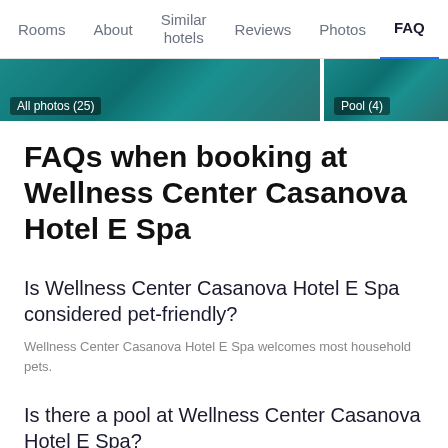Rooms  About  Similar hotels  Reviews  Photos  FAQ
[Figure (photo): Two cropped hotel photos side by side: left shows pool/teal water with label 'All photos (25)', right shows pool with label 'Pool (4)']
FAQs when booking at Wellness Center Casanova Hotel E Spa
Is Wellness Center Casanova Hotel E Spa considered pet-friendly?
Wellness Center Casanova Hotel E Spa welcomes most household pets.
Is there a pool at Wellness Center Casanova Hotel E Spa?
Yes, Wellness Center Casanova Hotel E Spa has a pool for hotel...